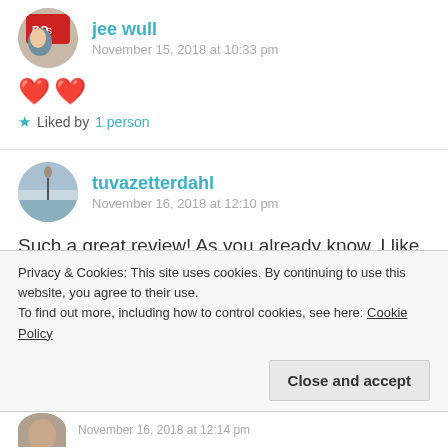jee wull
November 15, 2018 at 10:33 pm
❤️❤️
Liked by 1 person
tuvazetterdahl
November 16, 2018 at 12:10 pm
Such a great review! As you already know, I like horror stories. Haven't actually seen or read this one but it sounds very good! Xx Tuva
Privacy & Cookies: This site uses cookies. By continuing to use this website, you agree to their use.
To find out more, including how to control cookies, see here: Cookie Policy
Close and accept
November 16, 2018 at 12:14 pm